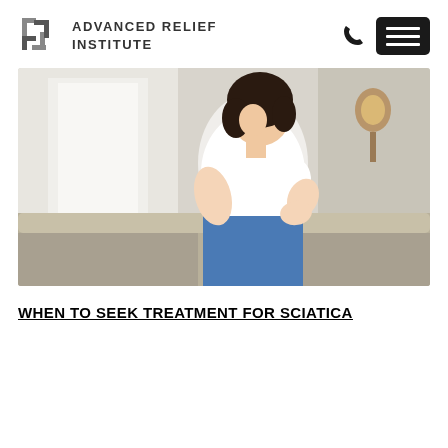ADVANCED RELIEF INSTITUTE
[Figure (photo): A woman in a white shirt and blue pants holding her lower back in pain, standing near a couch and window in a bright room.]
WHEN TO SEEK TREATMENT FOR SCIATICA